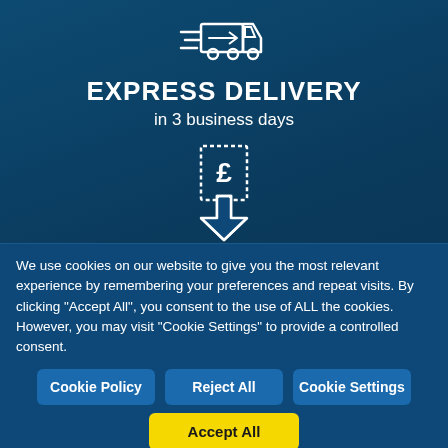[Figure (illustration): White line icon of a fast delivery truck with speed lines, on dark blue background]
EXPRESS DELIVERY
in 3 business days
[Figure (illustration): White outlined downward arrow icon with a pound (£) sign on a price tag/receipt style graphic, on dark blue background]
We use cookies on our website to give you the most relevant experience by remembering your preferences and repeat visits. By clicking "Accept All", you consent to the use of ALL the cookies. However, you may visit "Cookie Settings" to provide a controlled consent.
Cookie Policy
Reject All
Cookie Settings
Accept All